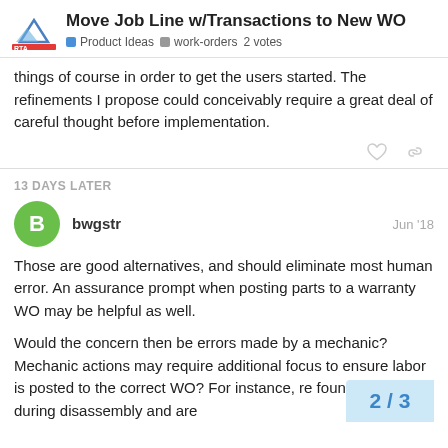Move Job Line w/Transactions to New WO
things of course in order to get the users started. The refinements I propose could conceivably require a great deal of careful thought before implementation.
13 DAYS LATER
bwgstr  Jun '18
Those are good alternatives, and should eliminate most human error. An assurance prompt when posting parts to a warranty WO may be helpful as well.
Would the concern then be errors made by a mechanic? Mechanic actions may require additional focus to ensure labor is posted to the correct WO? For instance, re found needed during disassembly and are